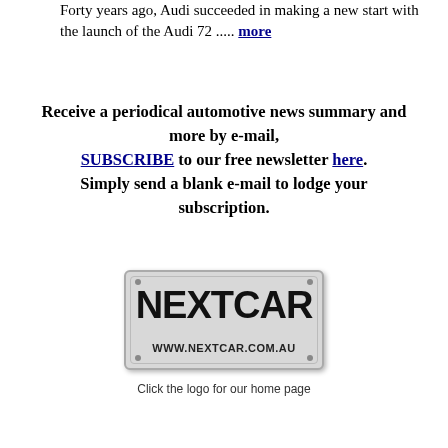Forty years ago, Audi succeeded in making a new start with the launch of the Audi 72 ..... more
Receive a periodical automotive news summary and more by e-mail, SUBSCRIBE to our free newsletter here. Simply send a blank e-mail to lodge your subscription.
[Figure (logo): NEXTCAR logo — a licence plate style badge with bold text 'NEXTCAR' and URL 'WWW.NEXTCAR.COM.AU']
Click the logo for our home page